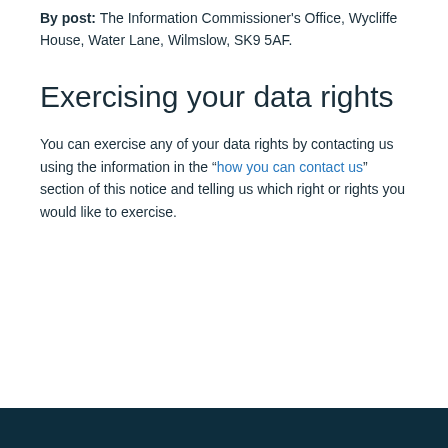By post: The Information Commissioner's Office, Wycliffe House, Water Lane, Wilmslow, SK9 5AF.
Exercising your data rights
You can exercise any of your data rights by contacting us using the information in the “how you can contact us” section of this notice and telling us which right or rights you would like to exercise.